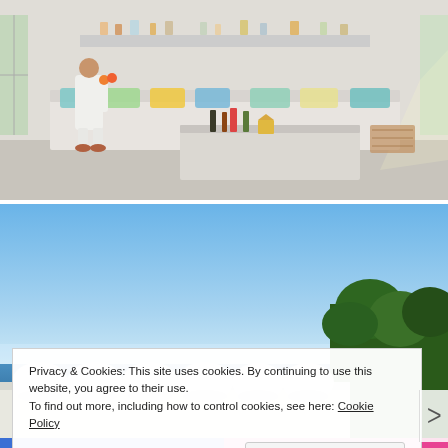[Figure (photo): Interior room photo showing a bright white room with a long built-in bench/sofa with colorful cushions along the walls, a low white coffee table with bottles and items on it, and a person in white clothing standing at the left side. Sunlight streams through windows.]
[Figure (photo): Outdoor coastal/ocean view photo showing a clear blue sky, calm sea on the horizon, white rounded umbrella/lantern decorations along a terrace railing, and trees on the right side.]
Privacy & Cookies: This site uses cookies. By continuing to use this website, you agree to their use.
To find out more, including how to control cookies, see here: Cookie Policy
Close and accept